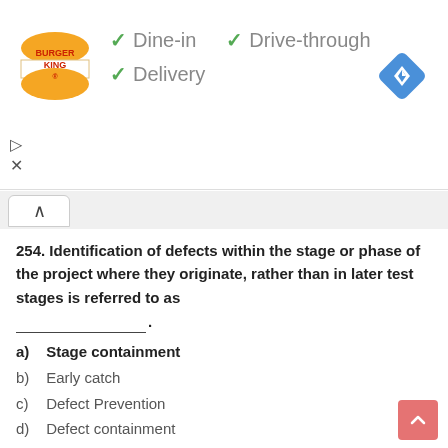[Figure (other): Burger King advertisement banner with logo, checkmarks for Dine-in, Drive-through, Delivery options, and a navigation diamond icon. Close/dismiss buttons at bottom left.]
254. Identification of defects within the stage or phase of the project where they originate, rather than in later test stages is referred to as __________.
a) Stage containment
b) Early catch
c) Defect Prevention
d) Defect containment
255. Informal, unstructured reviews of the program source code against specifications and standards to find defects and verify coding techniques are called __________.
a) Inspection